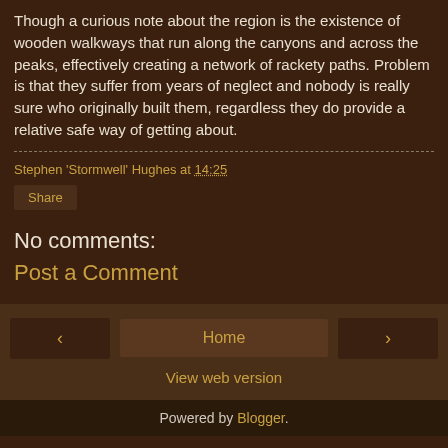Though a curious note about the region is the existence of wooden walkways that run along the canyons and across the peaks, effectively creating a network of rackety paths. Problem is that they suffer from years of neglect and nobody is really sure who originally built them, regardless they do provide a relative safe way of getting about.
Stephen 'Stormwell' Hughes at 14:25
Share
No comments:
Post a Comment
Home
View web version
Powered by Blogger.